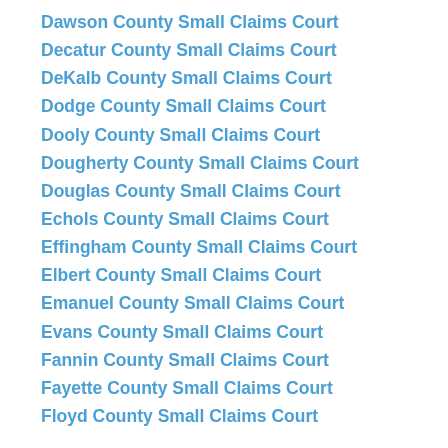Dawson County Small Claims Court
Decatur County Small Claims Court
DeKalb County Small Claims Court
Dodge County Small Claims Court
Dooly County Small Claims Court
Dougherty County Small Claims Court
Douglas County Small Claims Court
Echols County Small Claims Court
Effingham County Small Claims Court
Elbert County Small Claims Court
Emanuel County Small Claims Court
Evans County Small Claims Court
Fannin County Small Claims Court
Fayette County Small Claims Court
Floyd County Small Claims Court